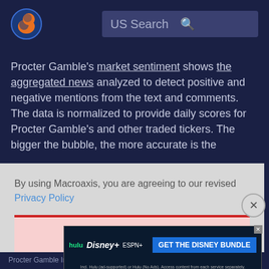[Figure (logo): Macroaxis globe logo — orange and blue circular icon]
US Search
Procter Gamble's market sentiment shows the aggregated news analyzed to detect positive and negative mentions from the text and comments. The data is normalized to provide daily scores for Procter Gamble's and other traded tickers. The bigger the bubble, the more accurate is the
ore
re
e.
By using Macroaxis, you are agreeing to our revised Privacy Policy
[Figure (other): OK button with red top border and pink background]
[Figure (other): Close X circle button]
[Figure (other): Hulu Disney+ ESPN+ GET THE DISNEY BUNDLE advertisement banner]
Procter Gamble Implied Volatility  22.35